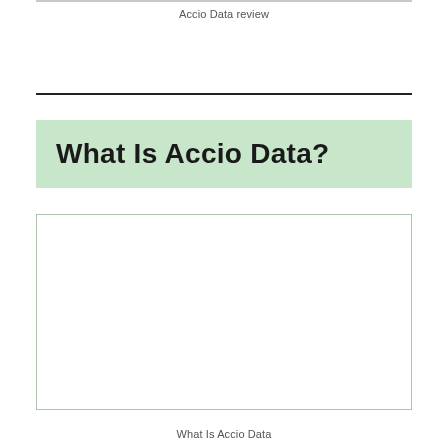Accio Data review
What Is Accio Data?
[Figure (other): Empty white box with light green border, placeholder image area for Accio Data content]
What Is Accio Data